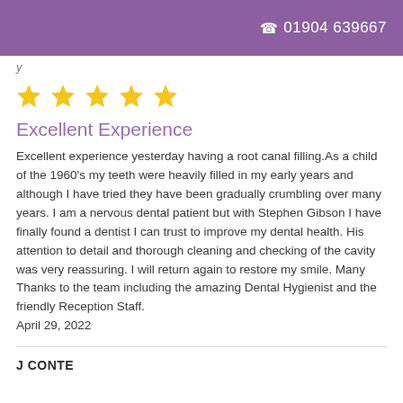☎ 01904 639667
y
[Figure (other): Five gold star rating icons]
Excellent Experience
Excellent experience yesterday having a root canal filling.As a child of the 1960's my teeth were heavily filled in my early years and although I have tried they have been gradually crumbling over many years. I am a nervous dental patient but with Stephen Gibson I have finally found a dentist I can trust to improve my dental health. His attention to detail and thorough cleaning and checking of the cavity was very reassuring. I will return again to restore my smile. Many Thanks to the team including the amazing Dental Hygienist and the friendly Reception Staff.
April 29, 2022
J CONTE